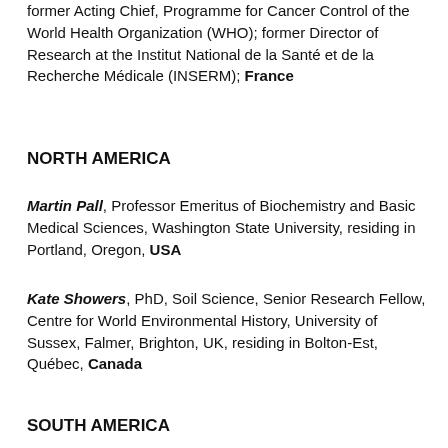former Acting Chief, Programme for Cancer Control of the World Health Organization (WHO); former Director of Research at the Institut National de la Santé et de la Recherche Médicale (INSERM); France
NORTH AMERICA
Martin Pall, Professor Emeritus of Biochemistry and Basic Medical Sciences, Washington State University, residing in Portland, Oregon, USA
Kate Showers, PhD, Soil Science, Senior Research Fellow, Centre for World Environmental History, University of Sussex, Falmer, Brighton, UK, residing in Bolton-Est, Québec, Canada
SOUTH AMERICA